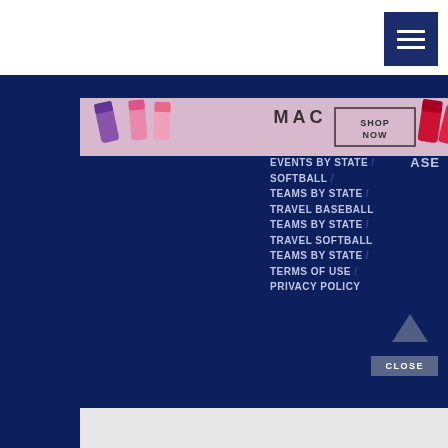[Figure (logo): Select BaseballTeams.com logo with baseball and shield design]
[Figure (other): Hamburger/menu icon button (dark navy background, three white lines)]
[Figure (other): MAC cosmetics advertisement banner showing lipsticks with SHOP NOW button]
ASE
EVENTS BY STATE /
SOFTBALL /
TEAMS BY STATE /
TRAVEL BASEBALL TEAMS BY STATE /
TRAVEL SOFTBALL TEAMS BY STATE /
TERMS OF USE /
PRIVACY POLICY